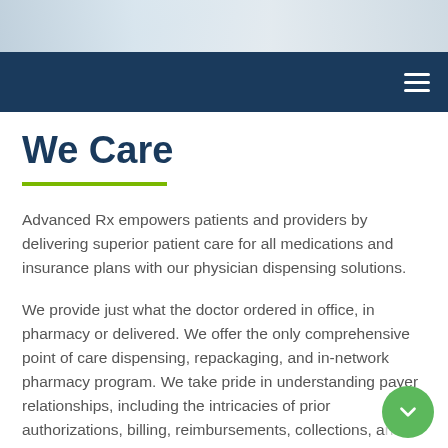[Figure (photo): Partial photo of medical professionals in white coats, cropped at top]
Navigation bar with hamburger menu icon
We Care
Advanced Rx empowers patients and providers by delivering superior patient care for all medications and insurance plans with our physician dispensing solutions.
We provide just what the doctor ordered in office, in pharmacy or delivered. We offer the only comprehensive point of care dispensing, repackaging, and in-network pharmacy program. We take pride in understanding payer relationships, including the intricacies of prior authorizations, billing, reimbursements, collections, and regulations.